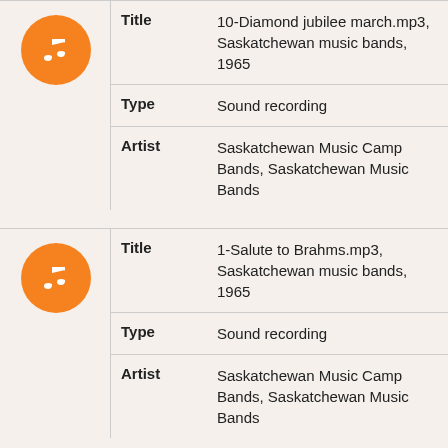| Field | Value |
| --- | --- |
| Title | 10-Diamond jubilee march.mp3, Saskatchewan music bands, 1965 |
| Type | Sound recording |
| Artist | Saskatchewan Music Camp Bands, Saskatchewan Music Bands |
| Field | Value |
| --- | --- |
| Title | 1-Salute to Brahms.mp3, Saskatchewan music bands, 1965 |
| Type | Sound recording |
| Artist | Saskatchewan Music Camp Bands, Saskatchewan Music Bands |
| Field | Value |
| --- | --- |
| Title | 2-Tango for bands.mp3, Saskatchewan music bands, 1965 |
| Type | Sound recording |
| Artist | Saskatchewan Music Camp Bands, |